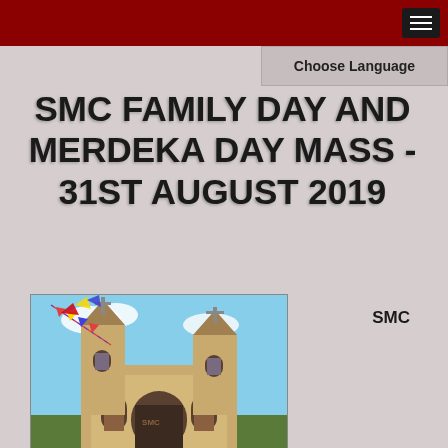Choose Language
SMC FAMILY DAY AND MERDEKA DAY MASS - 31ST AUGUST 2019
SMC
[Figure (photo): Photograph of a church building with two towers, decorated with colorful flags and bunting. The church has arched windows and a cross. Blue sky in the background.]